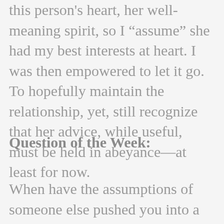this person's heart, her well-meaning spirit, so I "assume" she had my best interests at heart. I was then empowered to let it go. To hopefully maintain the relationship, yet, still recognize that her advice, while useful, must be held in abeyance—at least for now.
Question of the Week:
When have the assumptions of someone else pushed you into a corner of doubt?